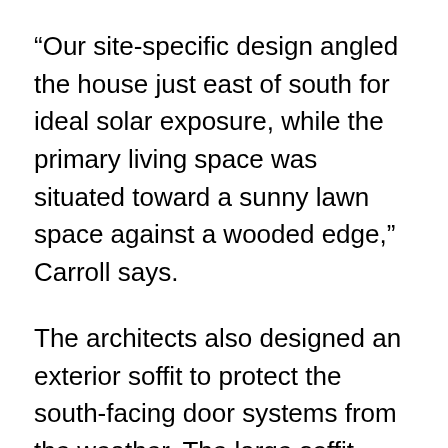“Our site-specific design angled the house just east of south for ideal solar exposure, while the primary living space was situated toward a sunny lawn space against a wooded edge,” Carroll says.
The architects also designed an exterior soffit to protect the south-facing door systems from the weather. The large soffit promotes shade in the summer months and passive solar gain in the winter months.
The living room extends into a screened porch and open terrace, blending the living